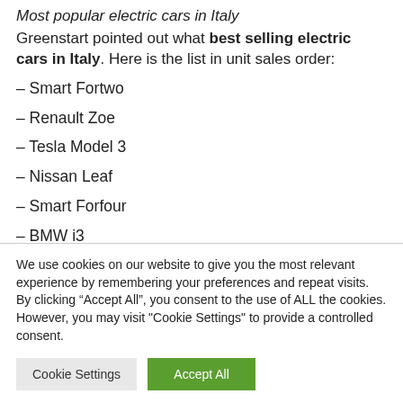Most popular electric cars in Italy
Greenstart pointed out what best selling electric cars in Italy. Here is the list in unit sales order:
– Smart Fortwo
– Renault Zoe
– Tesla Model 3
– Nissan Leaf
– Smart Forfour
– BMW i3
We use cookies on our website to give you the most relevant experience by remembering your preferences and repeat visits. By clicking “Accept All”, you consent to the use of ALL the cookies. However, you may visit "Cookie Settings" to provide a controlled consent.